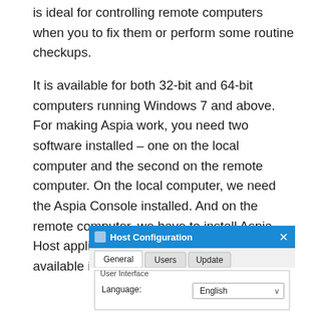is ideal for controlling remote computers when you to fix them or perform some routine checkups.
It is available for both 32-bit and 64-bit computers running Windows 7 and above. For making Aspia work, you need two software installed – one on the local computer and the second on the remote computer. On the local computer, we need the Aspia Console installed. And on the remote computer, we have to install Aspia Host application. The console part of Aspia is available in a portable version too.
[Figure (screenshot): Host Configuration dialog window showing General, Users, Update tabs and User Interface section with Language dropdown set to English]